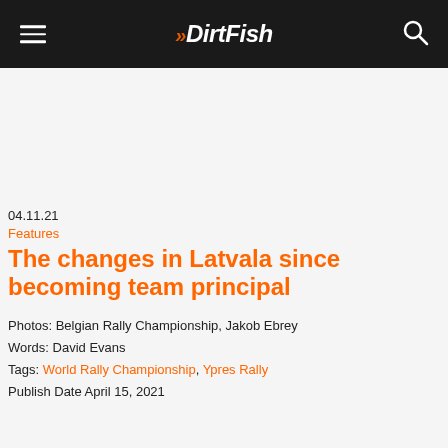DirtFish
04.11.21
Features
The changes in Latvala since becoming team principal
Photos: Belgian Rally Championship, Jakob Ebrey
Words: David Evans
Tags: World Rally Championship, Ypres Rally
Publish Date April 15, 2021